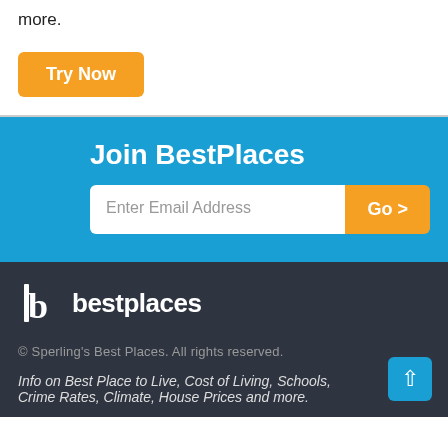more.
Try Now
Join BestPlaces
Enter Email Address
Go >
[Figure (logo): BestPlaces logo with stylized b and wordmark 'bestplaces' in white on dark background]
© Sperling's Best Places. All rights reserved.
Info on Best Place to Live, Cost of Living, Schools, Crime Rates, Climate, House Prices and more.